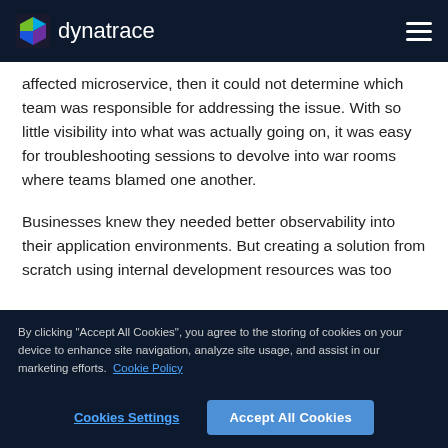dynatrace
affected microservice, then it could not determine which team was responsible for addressing the issue. With so little visibility into what was actually going on, it was easy for troubleshooting sessions to devolve into war rooms where teams blamed one another.
Businesses knew they needed better observability into their application environments. But creating a solution from scratch using internal development resources was too
By clicking "Accept All Cookies", you agree to the storing of cookies on your device to enhance site navigation, analyze site usage, and assist in our marketing efforts. Cookie Policy
Cookies Settings
Accept All Cookies